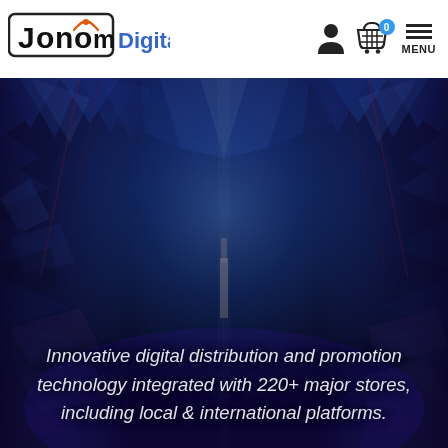Jonom Digital — navigation header with logo, user icon, cart (0), and MENU
[Figure (photo): Dark blue digital data center corridor with glowing blue geometric panels receding into the distance, creating a futuristic tunnel effect with purple and red accent lighting]
Innovative digital distribution and promotion technology integrated with 220+ major stores, including local & international platforms.